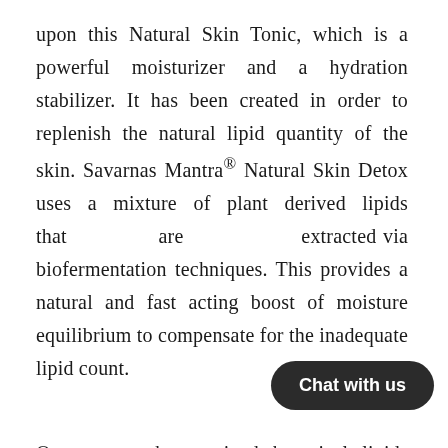upon this Natural Skin Tonic, which is a powerful moisturizer and a hydration stabilizer. It has been created in order to replenish the natural lipid quantity of the skin. Savarnas Mantra® Natural Skin Detox uses a mixture of plant derived lipids that are extracted via biofermentation techniques. This provides a natural and fast acting boost of moisture equilibrium to compensate for the inadequate lipid count.
Our experts have mixed botanical lipids along with powerful anti aging of Squalane, to deliver the best nutrients to your skin. Squalane is a natural olive extract which